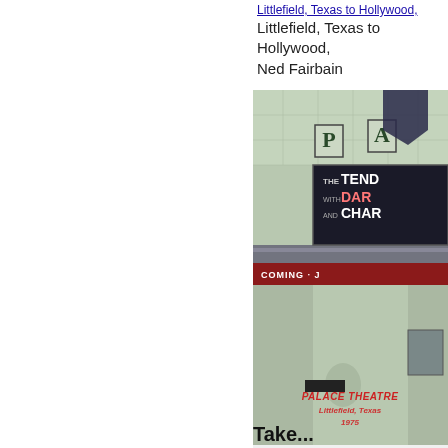Littlefield, Texas to Hollywood, Ned Fairbain
[Figure (photo): Photograph of the Palace Theatre in Littlefield, Texas, 1975. The marquee shows 'THE TENDER WITH DAR AND CHAR' and a 'COMING' banner. Overlaid text reads 'PALACE THEATRE Littlefield, Texas 1975'.]
"Palace Theatre in Littlefie - Ned Fairbairn, Dec
Take...